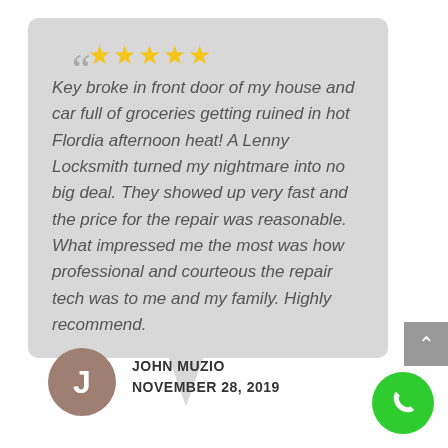Key broke in front door of my house and car full of groceries getting ruined in hot Flordia afternoon heat! A Lenny Locksmith turned my nightmare into no big deal. They showed up very fast and the price for the repair was reasonable. What impressed me the most was how professional and courteous the repair tech was to me and my family. Highly recommend.
JOHN MUZIO
NOVEMBER 28, 2019